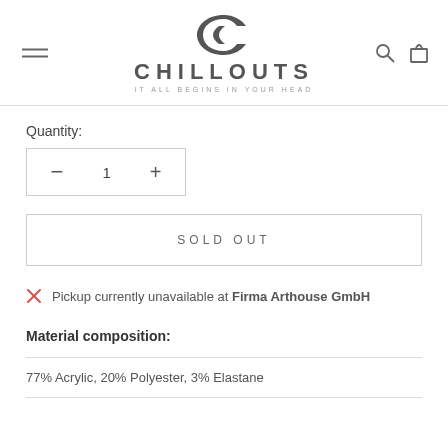[Figure (logo): Chillouts brand logo with stylized C icon and tagline IT ALL BEGINS IN YOUR HEAD]
Quantity:
− 1 +
SOLD OUT
✕ Pickup currently unavailable at Firma Arthouse GmbH
Material composition:
77% Acrylic, 20% Polyester, 3% Elastane